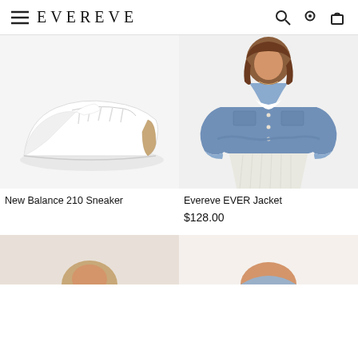EVEREVE
[Figure (photo): White New Balance 210 sneaker with gold/tan heel tab on light gray background]
[Figure (photo): Woman wearing denim jacket over white pleated skirt on white background]
New Balance 210 Sneaker
Evereve EVER Jacket
$128.00
[Figure (photo): Partial view of woman model, bottom portion cut off]
[Figure (photo): Partial view of woman model, bottom portion cut off]